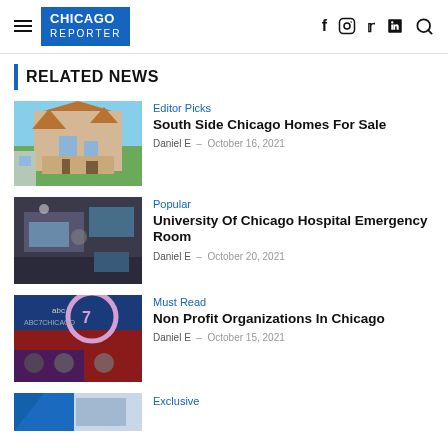Chicago Reporter — navigation header with logo and social icons
RELATED NEWS
[Figure (photo): Victorian-style house on South Side Chicago]
Editor Picks
South Side Chicago Homes For Sale
Daniel E  –  October 16, 2021
[Figure (photo): University of Chicago Hospital Emergency Room interior with staff]
Popular
University Of Chicago Hospital Emergency Room
Daniel E  –  October 20, 2021
[Figure (photo): ABC7 Chicago news studio set with anchor and guests]
Must Read
Non Profit Organizations In Chicago
Daniel E  –  October 15, 2021
[Figure (photo): Partial view of building — fourth article thumbnail]
Exclusive